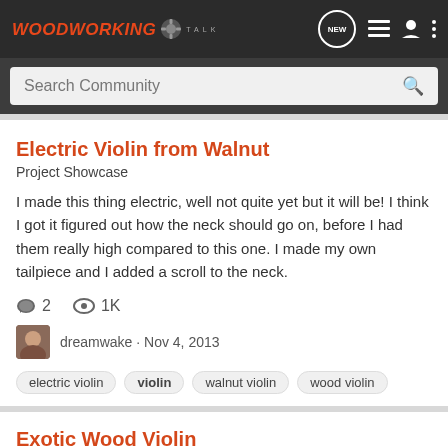WoodworkingTalk
Search Community
Electric Violin from Walnut
Project Showcase
I made this thing electric, well not quite yet but it will be! I think I got it figured out how the neck should go on, before I had them really high compared to this one. I made my own tailpiece and I added a scroll to the neck.
2   1K
dreamwake · Nov 4, 2013
electric violin
violin
walnut violin
wood violin
Exotic Wood Violin